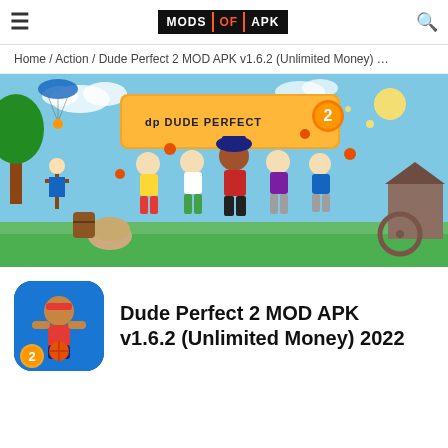MODS OF APK
Home / Action / Dude Perfect 2 MOD APK v1.6.2 (Unlimited Money) …
[Figure (screenshot): Dude Perfect 2 game banner showing five animated cartoon characters celebrating outdoors with the Dude Perfect 2 logo]
[Figure (illustration): Dude Perfect 2 app icon showing a cartoon character holding a basketball with the number 2 badge]
Dude Perfect 2 MOD APK v1.6.2 (Unlimited Money) 2022